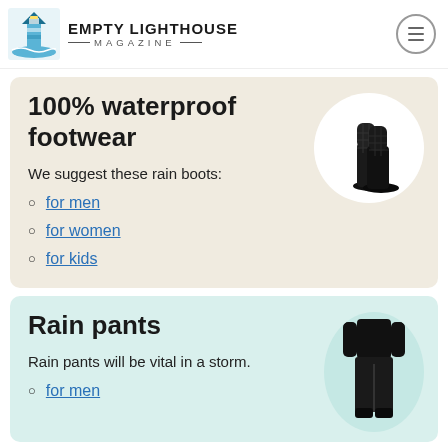EMPTY LIGHTHOUSE MAGAZINE
100% waterproof footwear
We suggest these rain boots:
for men
for women
for kids
[Figure (photo): Black quilted rain boots]
Rain pants
Rain pants will be vital in a storm.
for men
[Figure (photo): Person wearing black rain pants]